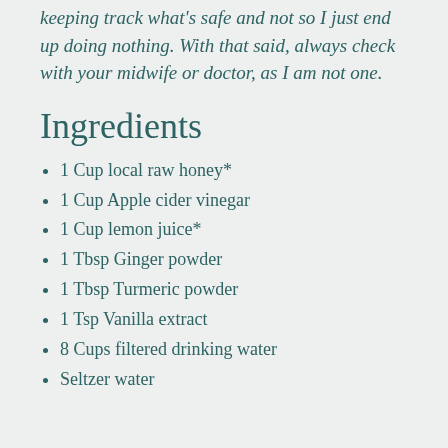keeping track what's safe and not so I just end up doing nothing. With that said, always check with your midwife or doctor, as I am not one.
Ingredients
1 Cup local raw honey*
1 Cup Apple cider vinegar
1 Cup lemon juice*
1 Tbsp Ginger powder
1 Tbsp Turmeric powder
1 Tsp Vanilla extract
8 Cups filtered drinking water
Seltzer water